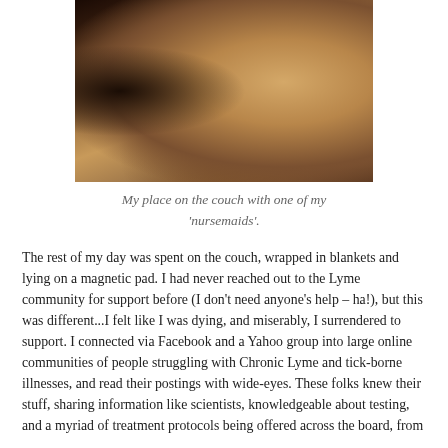[Figure (photo): A person resting on a couch wrapped in blankets, hugging a stuffed animal, with a dark-furred pet visible in the foreground. Warm, dim indoor lighting.]
My place on the couch with one of my 'nursemaids'.
The rest of my day was spent on the couch, wrapped in blankets and lying on a magnetic pad. I had never reached out to the Lyme community for support before (I don't need anyone's help – ha!), but this was different...I felt like I was dying, and miserably, I surrendered to support. I connected via Facebook and a Yahoo group into large online communities of people struggling with Chronic Lyme and tick-borne illnesses, and read their postings with wide-eyes. These folks knew their stuff, sharing information like scientists, knowledgeable about testing, and a myriad of treatment protocols being offered across the board, from